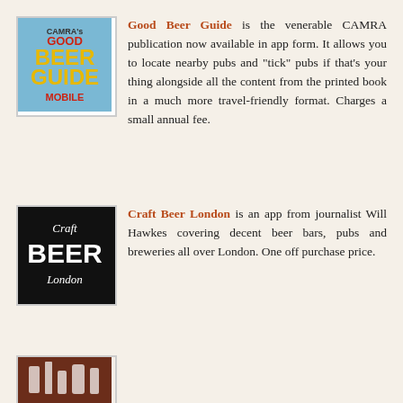[Figure (logo): CAMRA Good Beer Guide Mobile app logo - blue background with red/yellow text]
Good Beer Guide is the venerable CAMRA publication now available in app form. It allows you to locate nearby pubs and "tick" pubs if that's your thing alongside all the content from the printed book in a much more travel-friendly format. Charges a small annual fee.
[Figure (logo): Craft Beer London app logo - black background with white text]
Craft Beer London is an app from journalist Will Hawkes covering decent beer bars, pubs and breweries all over London. One off purchase price.
[Figure (logo): Third app logo - partial view, brown/dark background with beer glass icons]